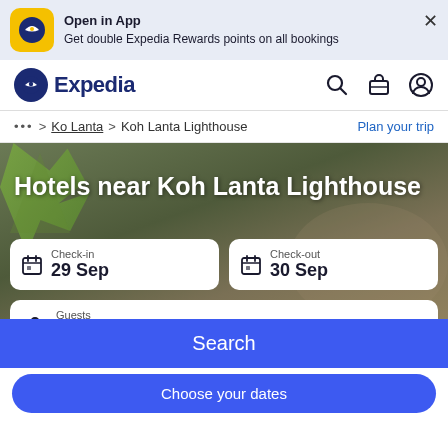[Figure (screenshot): App promotion banner with Expedia yellow logo icon]
Open in App
Get double Expedia Rewards points on all bookings
[Figure (logo): Expedia logo with dark blue circle and white airplane icon]
Expedia
... > Ko Lanta > Koh Lanta Lighthouse
Plan your trip
Hotels near Koh Lanta Lighthouse
Check-in
29 Sep
Check-out
30 Sep
Guests
1 room, 2 travellers
Search
Choose your dates